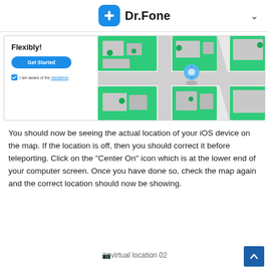Dr.Fone
[Figure (screenshot): Dr.Fone application screenshot showing 'Flexibly!' text, a blue 'Get Started' button, a checked disclaimer checkbox with 'I am aware of the disclaimer' text, and a 3D map view with buildings and a blue location pin]
You should now be seeing the actual location of your iOS device on the map. If the location is off, then you should correct it before teleporting. Click on the “Center On” icon which is at the lower end of your computer screen. Once you have done so, check the map again and the correct location should now be showing.
[Figure (screenshot): virtual location 02 image placeholder]